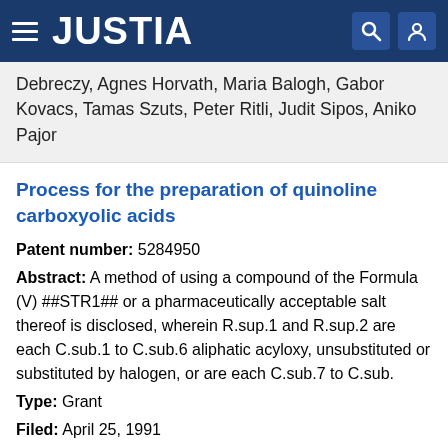JUSTIA
Debreczy, Agnes Horvath, Maria Balogh, Gabor Kovacs, Tamas Szuts, Peter Ritli, Judit Sipos, Aniko Pajor
Process for the preparation of quinoline carboxyolic acids
Patent number: 5284950
Abstract: A method of using a compound of the Formula (V) ##STR1## or a pharmaceutically acceptable salt thereof is disclosed, wherein R.sup.1 and R.sup.2 are each C.sub.1 to C.sub.6 aliphatic acyloxy, unsubstituted or substituted by halogen, or are each C.sub.7 to C.sub.
Type: Grant
Filed: April 25, 1991
Date of Patent: February 8, 1994
Assignee: Chinoin Gyogyszer es Vegyeszeti Termekek Gyara Rt.